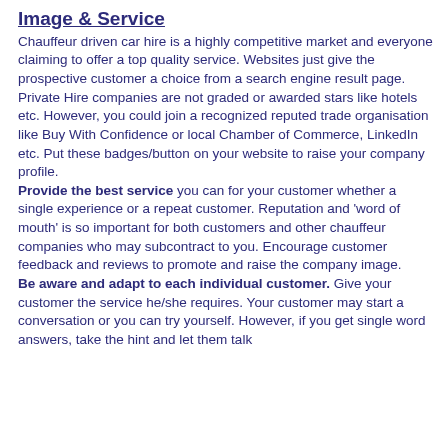Image & Service
Chauffeur driven car hire is a highly competitive market and everyone claiming to offer a top quality service. Websites just give the prospective customer a choice from a search engine result page. Private Hire companies are not graded or awarded stars like hotels etc. However, you could join a recognized reputed trade organisation like Buy With Confidence or local Chamber of Commerce, LinkedIn etc. Put these badges/button on your website to raise your company profile. Provide the best service you can for your customer whether a single experience or a repeat customer. Reputation and 'word of mouth' is so important for both customers and other chauffeur companies who may subcontract to you. Encourage customer feedback and reviews to promote and raise the company image. Be aware and adapt to each individual customer. Give your customer the service he/she requires. Your customer may start a conversation or you can try yourself. However, if you get single word answers, take the hint and let them talk